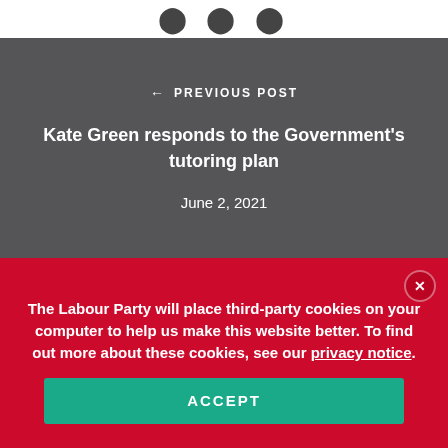[Figure (other): Social media sharing icons at top of page]
← PREVIOUS POST
Kate Green responds to the Government's tutoring plan
June 2, 2021
The Labour Party will place third-party cookies on your computer to help us make this website better. To find out more about these cookies, see our privacy notice.
ACCEPT